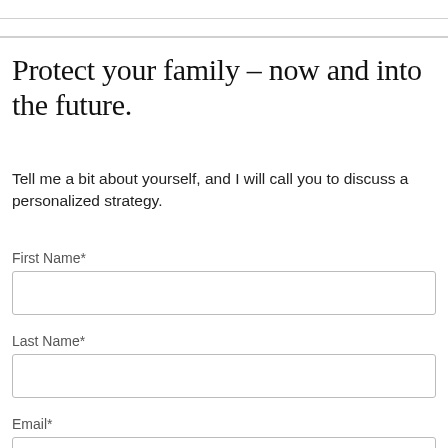Protect your family – now and into the future.
Tell me a bit about yourself, and I will call you to discuss a personalized strategy.
First Name*
Last Name*
Email*